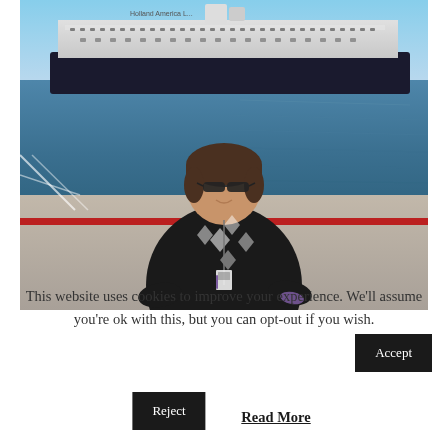[Figure (photo): A woman wearing sunglasses and a black top with a lanyard/badge stands on a dock in front of a large cruise ship on blue water. Clear sky in background.]
This website uses cookies to improve your experience. We'll assume you're ok with this, but you can opt-out if you wish.
Accept
Reject
Read More